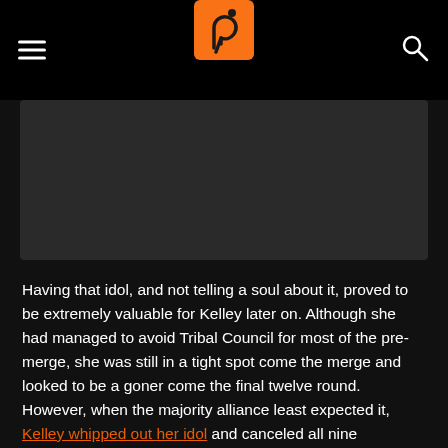≡ [logo] 🔍
[Figure (other): Dark rectangular image placeholder area]
Having that idol, and not telling a soul about it, proved to be extremely valuable for Kelley later on. Although she had managed to avoid Tribal Council for most of the pre-merge, she was still in a tight spot come the merge and looked to be a goner come the final twelve round.
However, when the majority alliance least expected it, Kelley whipped out her idol and canceled all nine